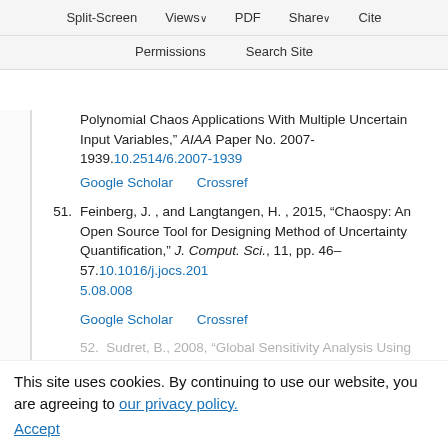Split-Screen  Views  PDF  Share  Cite  Permissions  Search Site
Polynomial Chaos Applications With Multiple Uncertain Input Variables," AIAA Paper No. 2007-1939. 10.2514/6.2007-1939
Google Scholar   Crossref
51. Feinberg, J. , and Langtangen, H. , 2015, "Chaospy: An Open Source Tool for Designing Method of Uncertainty Quantification," J. Comput. Sci., 11, pp. 46–57. 10.1016/j.jocs.2015.08.008
Google Scholar   Crossref
52. Sudret, B., 2008, "Global Sensitivity Analysis Using Polynomial Chaos Expansions," Reliab. Eng. Syst. Saf., 93(7), pp. 964–979. 10.1016/j.re
This site uses cookies. By continuing to use our website, you are agreeing to our privacy policy. Accept